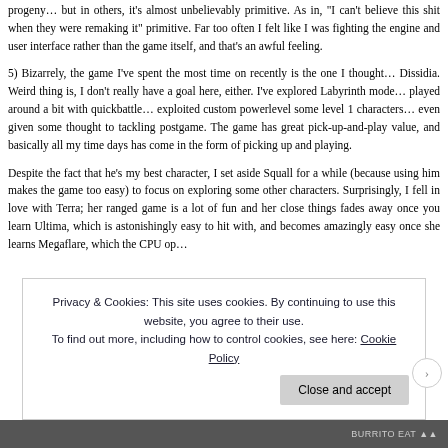progeny… but in others, it's almost unbelievably primitive. As in, "I can't believe this shit when they were remaking it" primitive. Far too often I felt like I was fighting the engine and user interface rather than the game itself, and that's an awful feeling.
5) Bizarrely, the game I've spent the most time on recently is the one I thought… Dissidia. Weird thing is, I don't really have a goal here, either. I've explored Labyrinth mode… played around a bit with quickbattle… exploited custom powerlevel some level 1 characters… even given some thought to tackling postgame. The game has great pick-up-and-play value, and basically all my time days has come in the form of picking up and playing.
Despite the fact that he's my best character, I set aside Squall for a while (because using him makes the game too easy) to focus on exploring some other characters. Surprisingly, I fell in love with Terra; her ranged game is a lot of fun and her close things fades away once you learn Ultima, which is astonishingly easy to hit with, and becomes amazingly easy once she learns Megaflare, which the CPU opponents…
Privacy & Cookies: This site uses cookies. By continuing to use this website, you agree to their use.
To find out more, including how to control cookies, see here: Cookie Policy
Close and accept